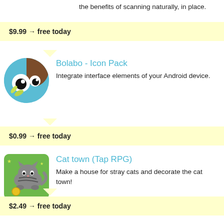Place your smartphone in the ScanStick and enjoy the benefits of scanning naturally, in place.
$9.99 → free today
Bolabo - Icon Pack
Integrate interface elements of your Android device.
$0.99 → free today
Cat town (Tap RPG)
Make a house for stray cats and decorate the cat town!
$2.49 → free today